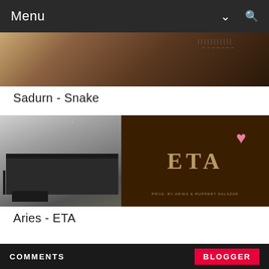Menu
[Figure (photo): Close-up photo of guitar strings and fretboard with brownish background]
Sadurn - Snake
[Figure (photo): Music artwork for Aries - ETA: left half shows black and white photo of a house with a car, right half shows dark brown background with stylized text ETA and a pink heart]
Aries - ETA
COMMENTS   BLOGGER